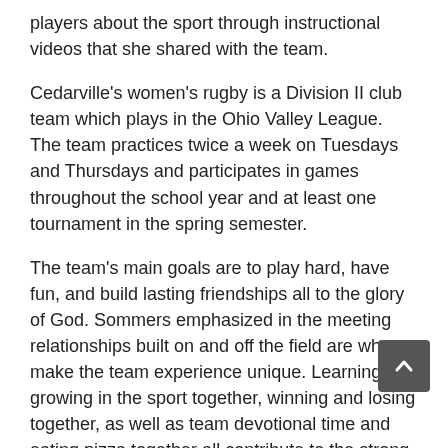players about the sport through instructional videos that she shared with the team.
Cedarville's women's rugby is a Division II club team which plays in the Ohio Valley League. The team practices twice a week on Tuesdays and Thursdays and participates in games throughout the school year and at least one tournament in the spring semester.
The team's main goals are to play hard, have fun, and build lasting friendships all to the glory of God. Sommers emphasized in the meeting relationships built on and off the field are what make the team experience unique. Learning and growing in the sport together, winning and losing together, as well as team devotional time and eating pizza together all contribute to the strong bond shared by the team.
Sarah Newborn, Cedarville graduate and founder of the women's rugby club joined the interest meeting through